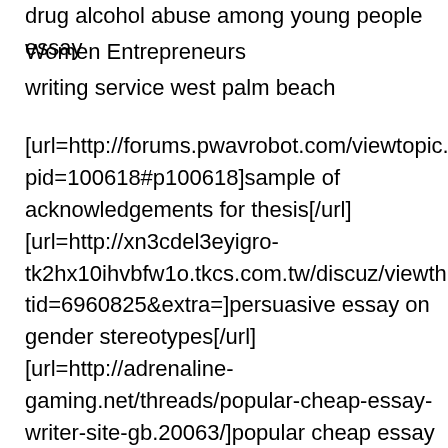drug alcohol abuse among young people essay
Women Entrepreneurs
writing service west palm beach
[url=http://forums.pwavrobot.com/viewtopic.php?pid=100618#p100618]sample of acknowledgements for thesis[/url] [url=http://xn3cdel3eyigro-tk2hx10ihvbfw1o.tkcs.com.tw/discuz/viewthread.php?tid=6960825&extra=]persuasive essay on gender stereotypes[/url] [url=http://adrenaline-gaming.net/threads/popular-cheap-essay-writer-site-gb.20063/]popular cheap essay writer site gb[/url] [url=http://bbs.shadou.net/thread-55446-1-1.html]cdc grants research dissertation[/url] [url=http://forum.dreamjump.pl/viewtopic.php?f=29&t=75058]esl creative essay editing site[/url] [url=http://russianculturalcenterinalaska.com/index subaction=userinfo&user=Ridgebig]wordpress